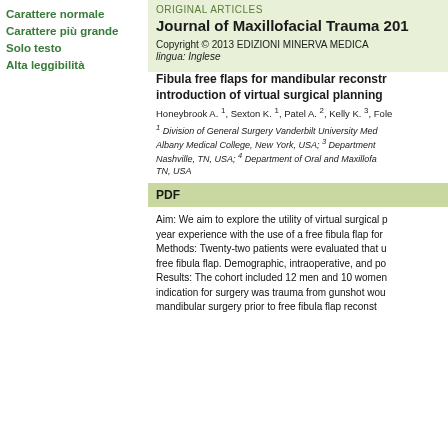Carattere normale
Carattere più grande
Solo testo
Alta leggibilità
ORIGINAL ARTICLES
Journal of Maxillofacial Trauma 201...
Copyright © 2013 EDIZIONI MINERVA MEDICA
lingua: Inglese
Fibula free flaps for mandibular reconstruction: introduction of virtual surgical planning
Honeybrook A. 1, Sexton K. 1, Patel A. 2, Kelly K. 3, Fole...
1 Division of General Surgery Vanderbilt University Med... Albany Medical College, New York, USA; 3 Department... Nashville, TN, USA; 4 Department of Oral and Maxillofa... TN, USA
PDF
Aim: We aim to explore the utility of virtual surgical p... year experience with the use of a free fibula flap for... Methods: Twenty-two patients were evaluated that u... free fibula flap. Demographic, intraoperative, and po... Results: The cohort included 12 men and 10 women... indication for surgery was trauma from gunshot wou... mandibular surgery prior to free fibula flap reconst...